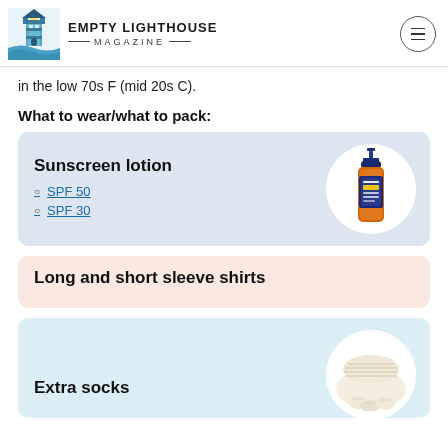Empty Lighthouse Magazine
in the low 70s F (mid 20s C).
What to wear/what to pack:
[Figure (infographic): Card with sunscreen lotion title, SPF 50 and SPF 30 links, and an image of an orange sunscreen bottle on white circle background]
[Figure (infographic): Card with text: Long and short sleeve shirts, pink background]
[Figure (infographic): Card with text: Extra socks, light blue background, with image of socks on white circle]